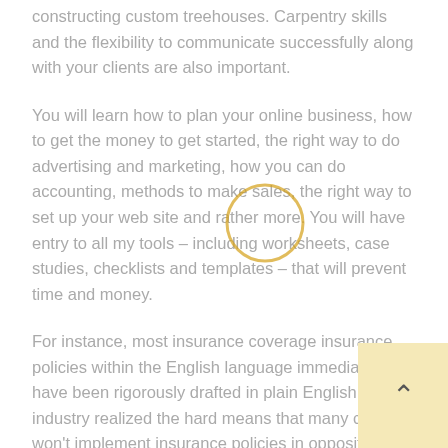constructing custom treehouses. Carpentry skills and the flexibility to communicate successfully along with your clients are also important.
You will learn how to plan your online business, how to get the money to get started, the right way to do advertising and marketing, how you can do accounting, methods to make sales, the right way to set up your web site and rather more. You will have entry to all my tools – including worksheets, case studies, checklists and templates – that will prevent time and money.
For instance, most insurance coverage insurance policies within the English language immediately have been rigorously drafted in plain English ; the industry realized the hard means that many courts won't implement insurance policies in opposition to insureds when the judges themselves cannot understand what the policies are saying. Typically, courts construe ambiguities in insurance policies against the insurance company and in favor of coverage under the policy.